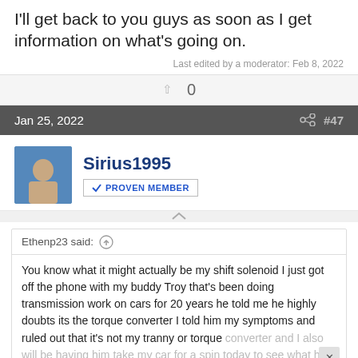I'll get back to you guys as soon as I get information on what's going on.
Last edited by a moderator: Feb 8, 2022
0
Jan 25, 2022  #47
Sirius1995
✓ PROVEN MEMBER
Ethenp23 said: ↑
You know what it might actually be my shift solenoid I just got off the phone with my buddy Troy that's been doing transmission work on cars for 20 years he told me he highly doubts its the torque converter I told him my symptoms and ruled out that it's not my tranny or torque converter and I also will be having him take my car for a spin today to see what he thinks I will mention that I also think it could be the shift
Click to expand...